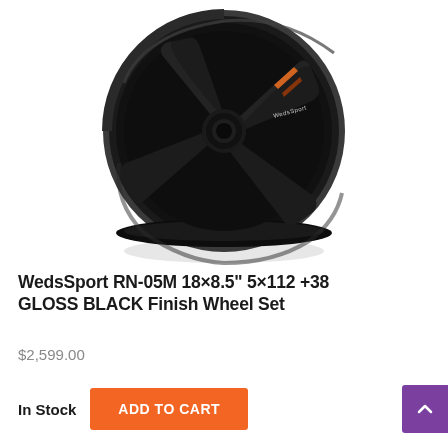[Figure (photo): A glossy black WedsSport RN-05M alloy wheel with 5-spoke design, photographed at a slight angle on a white background. The wheel has a deep concave profile and orange accent stripe visible on one spoke.]
WedsSport RN-05M 18×8.5" 5×112 +38 GLOSS BLACK Finish Wheel Set
$2,599.00
In Stock
ADD TO CART